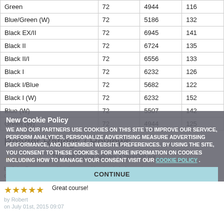|  |  |  |  |
| --- | --- | --- | --- |
| Green | 72 | 4944 | 116 |
| Blue/Green (W) | 72 | 5186 | 132 |
| Black EX/II | 72 | 6945 | 141 |
| Black II | 72 | 6724 | 135 |
| Black II/I | 72 | 6556 | 133 |
| Black I | 72 | 6232 | 126 |
| Black I/Blue | 72 | 5682 | 122 |
| Black I (W) | 72 | 6232 | 152 |
| Blue (W) | 72 | 5507 | 142 |
| Green (W) | 72 | 4944 | 125 |
Reader Ratings / Reviews
This golf course delivers a pleasant sur... combination s. parkland style holes and... excitement from the moment one steps...
by John Owens
on August 12th, 2018 01:05
Great course!
by Robert
on July 01st, 2015 09:07
New Cookie Policy
WE AND OUR PARTNERS USE COOKIES ON THIS SITE TO IMPROVE OUR SERVICE, PERFORM ANALYTICS, PERSONALIZE ADVERTISING MEASURE ADVERTISING PERFORMANCE, AND REMEMBER WEBSITE PREFERENCES. BY USING THE SITE, YOU CONSENT TO THESE COOKIES. FOR MORE INFORMATION ON COOKIES INCLUDING HOW TO MANAGE YOUR CONSENT VISIT OUR COOKIE POLICY.
CONTINUE